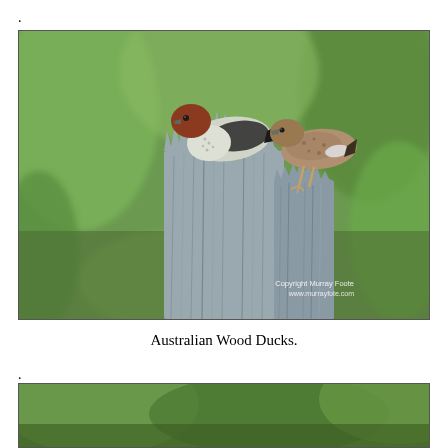[Figure (photo): Two Australian Wood Ducks perched on top of a weathered, splintered wooden post stump. The left bird has a reddish-brown head and pale speckled breast; the right bird is more mottled brown overall. Green grassy background, blurred. Copyright watermark: 'Copyright Murray Foote www.murrayfote.com' in lower right corner.]
Australian Wood Ducks.
[Figure (photo): Partial view of a second photograph, cropped at the bottom edge of the page, showing green vegetation.]